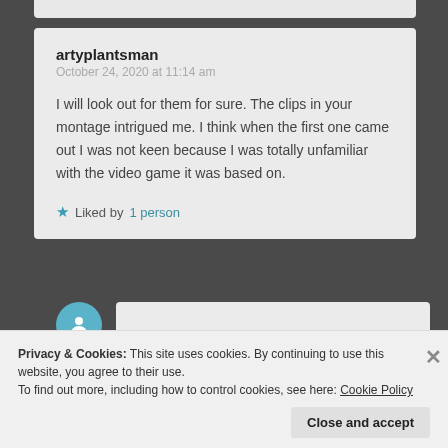artyplantsman
October 24, 2020 at 11:14 am
I will look out for them for sure. The clips in your montage intrigued me. I think when the first one came out I was not keen because I was totally unfamiliar with the video game it was based on.
★ Liked by 1 person
Privacy & Cookies: This site uses cookies. By continuing to use this website, you agree to their use.
To find out more, including how to control cookies, see here: Cookie Policy
Close and accept